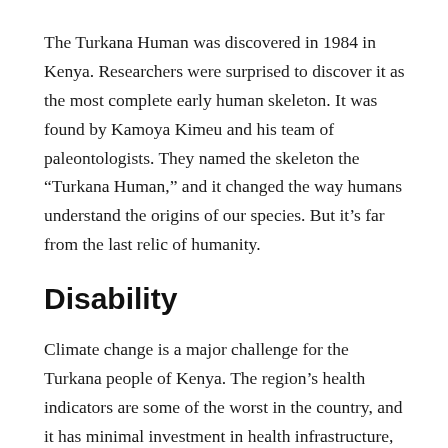The Turkana Human was discovered in 1984 in Kenya. Researchers were surprised to discover it as the most complete early human skeleton. It was found by Kamoya Kimeu and his team of paleontologists. They named the skeleton the “Turkana Human,” and it changed the way humans understand the origins of our species. But it’s far from the last relic of humanity.
Disability
Climate change is a major challenge for the Turkana people of Kenya. The region’s health indicators are some of the worst in the country, and it has minimal investment in health infrastructure, services, or staff. Climate change is also a factor in the health of Turkana residents, who reported a wide variety of diseases, including malaria,